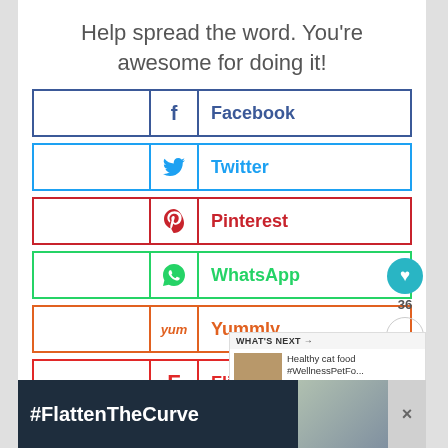Help spread the word. You're awesome for doing it!
Facebook
Twitter
Pinterest
WhatsApp
Yummly
Flipboard
Mix
36
WHAT'S NEXT → Healthy cat food #WellnessPetFo...
#FlattenTheCurve